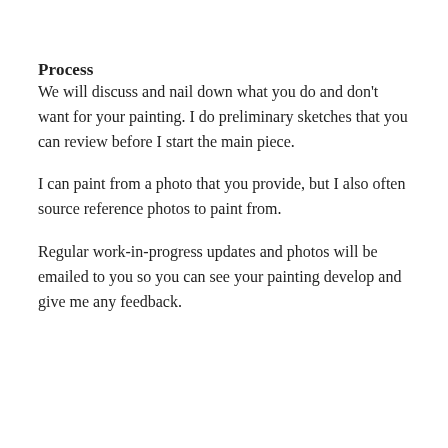Process
We will discuss and nail down what you do and don't want for your painting. I do preliminary sketches that you can review before I start the main piece.
I can paint from a photo that you provide, but I also often source reference photos to paint from.
Regular work-in-progress updates and photos will be emailed to you so you can see your painting develop and give me any feedback.